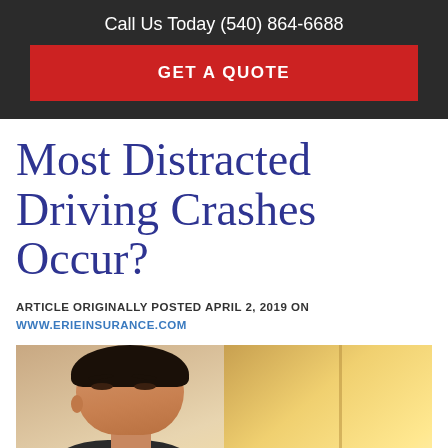Call Us Today (540) 864-6688
GET A QUOTE
Most Distracted Driving Crashes Occur?
ARTICLE ORIGINALLY POSTED APRIL 2, 2019 ON WWW.ERIEINSURANCE.COM
[Figure (photo): Young man in driver seat of car, looking slightly distracted, photographed from outside the vehicle with warm car interior background]